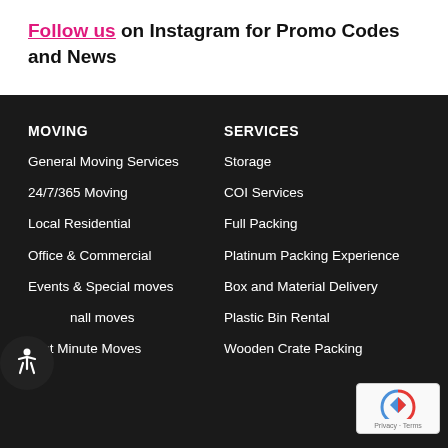Follow us on Instagram for Promo Codes and News
MOVING
General Moving Services
24/7/365 Moving
Local Residential
Office & Commercial
Events & Special moves
Small moves
Last Minute Moves
SERVICES
Storage
COI Services
Full Packing
Platinum Packing Experience
Box and Material Delivery
Plastic Bin Rental
Wooden Crate Packing